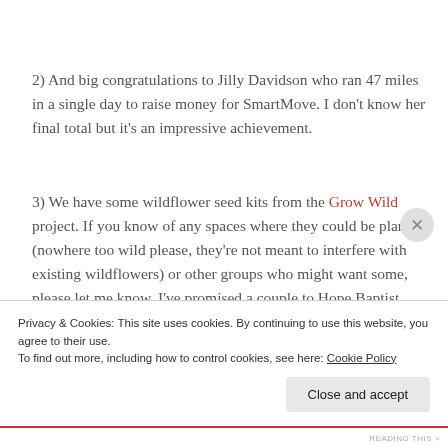2) And big congratulations to Jilly Davidson who ran 47 miles in a single day to raise money for SmartMove. I don't know her final total but it's an impressive achievement.
3) We have some wildflower seed kits from the Grow Wild project. If you know of any spaces where they could be planted (nowhere too wild please, they're not meant to interfere with existing wildflowers) or other groups who might want some, please let me know. I've promised a couple to Hope Baptist Church already.
Privacy & Cookies: This site uses cookies. By continuing to use this website, you agree to their use.
To find out more, including how to control cookies, see here: Cookie Policy
Close and accept